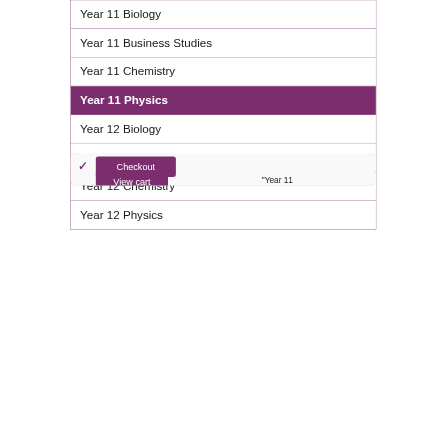Year 11 Biology
Year 11 Business Studies
Year 11 Chemistry
Year 11 Physics
Year 12 Biology
Year 12 Business Studies
Year 12 Chemistry
Year 12 Physics
[Figure (screenshot): Checkout UI with checkmark, Checkout button, View cart button, and partial text Year 11]